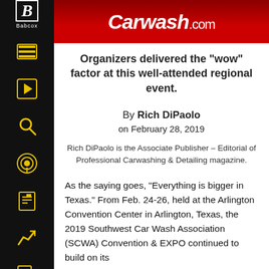Carwash.com
Organizers delivered the "wow" factor at this well-attended regional event.
By Rich DiPaolo
on February 28, 2019
Rich DiPaolo is the Associate Publisher – Editorial of Professional Carwashing & Detailing magazine.
As the saying goes, “Everything is bigger in Texas.” From Feb. 24-26, held at the Arlington Convention Center in Arlington, Texas, the 2019 Southwest Car Wash Association (SCWA) Convention & EXPO continued to build on its